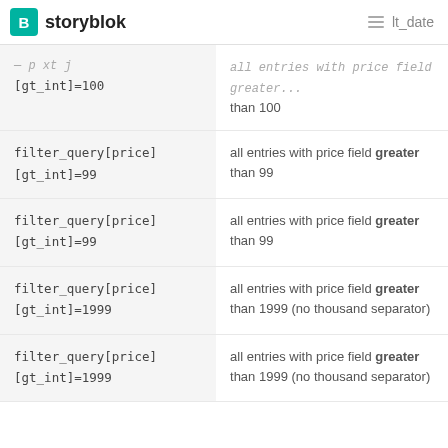storyblok | lt_date
| Filter Query | Description |
| --- | --- |
| filter_query[price][gt_int]=100 | all entries with price field greater than 100 |
| filter_query[price][gt_int]=99 | all entries with price field greater than 99 |
| filter_query[price][gt_int]=99 | all entries with price field greater than 99 |
| filter_query[price][gt_int]=1999 | all entries with price field greater than 1999 (no thousand separator) |
| filter_query[price][gt_int]=1999 | all entries with price field greater than 1999 (no thousand separator) |